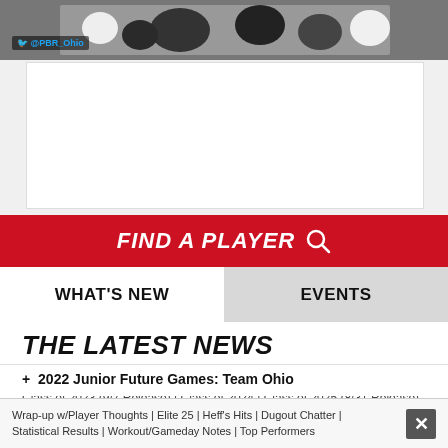[Figure (photo): Baseball players in action, team photo/game moment. Twitter handle @PBR_Ohio overlaid.]
FIND A PLAYER
WHAT'S NEW
EVENTS
THE LATEST NEWS
+ Updated Ohio Player Rankings
Class of 2023 (9/7 Release) | Class of 2024 | Class of 2025 (8/31 Release)
+ 2022 Future Games: Team Ohio
Wrap-up w/Player Thoughts | Elite 25 | Heff's Hits | Dugout Chatter | Statistical Results | Workout/Gameday Notes | Top Performers
+ 2022 Junior Future Games: Team Ohio